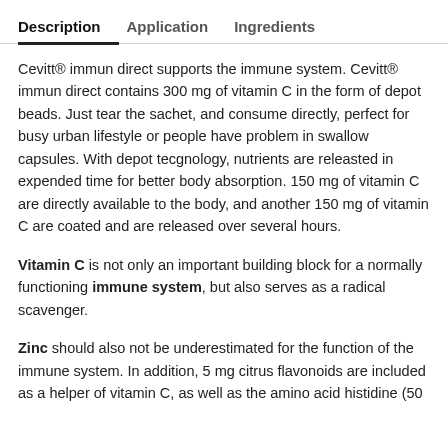Description | Application | Ingredients
Cevitt® immun direct supports the immune system. Cevitt® immun direct contains 300 mg of vitamin C in the form of depot beads. Just tear the sachet, and consume directly, perfect for busy urban lifestyle or people have problem in swallow capsules. With depot tecgnology, nutrients are releasted in expended time for better body absorption. 150 mg of vitamin C are directly available to the body, and another 150 mg of vitamin C are coated and are released over several hours.
Vitamin C is not only an important building block for a normally functioning immune system, but also serves as a radical scavenger.
Zinc should also not be underestimated for the function of the immune system. In addition, 5 mg citrus flavonoids are included as a helper of vitamin C, as well as the amino acid histidine (50